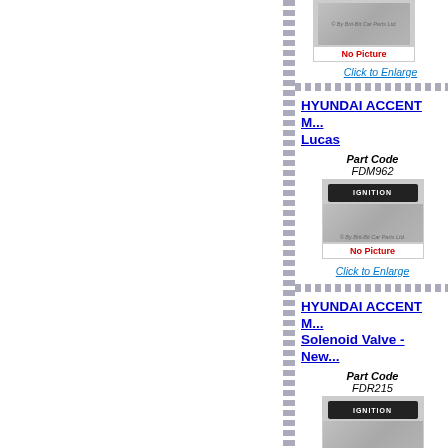[Figure (photo): Hyundai Accent part image placeholder with No Picture overlay, partially visible at top]
Click to Enlarge
HYUNDAI ACCENT M... Lucas
Part Code FDM962
[Figure (photo): Ignition module image placeholder with No Picture overlay, part code FDM962]
Click to Enlarge
HYUNDAI ACCENT M... Solenoid Valve - New...
Part Code FDR215
[Figure (photo): Ignition module image placeholder, part code FDR215, partially visible]